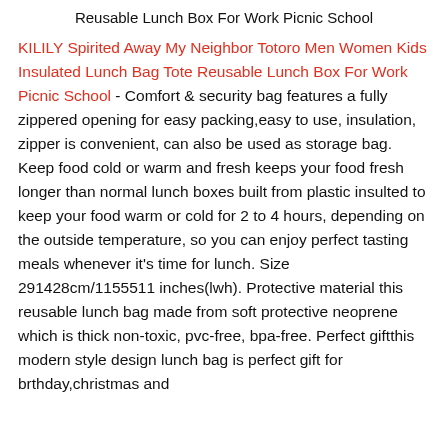Reusable Lunch Box For Work Picnic School
KILILY Spirited Away My Neighbor Totoro Men Women Kids Insulated Lunch Bag Tote Reusable Lunch Box For Work Picnic School - Comfort & security bag features a fully zippered opening for easy packing,easy to use, insulation, zipper is convenient, can also be used as storage bag. Keep food cold or warm and fresh keeps your food fresh longer than normal lunch boxes built from plastic insulted to keep your food warm or cold for 2 to 4 hours, depending on the outside temperature, so you can enjoy perfect tasting meals whenever it's time for lunch. Size 291428cm/1155511 inches(lwh). Protective material this reusable lunch bag made from soft protective neoprene which is thick non-toxic, pvc-free, bpa-free. Perfect giftthis modern style design lunch bag is perfect gift for brthday,christmas and